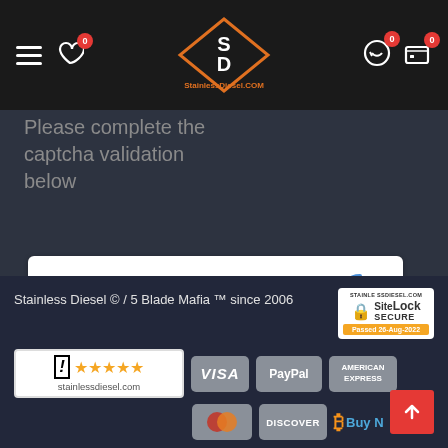[Figure (screenshot): StainlessDiesel.COM website header navigation bar with hamburger menu, heart/wishlist icon with badge 0, SD logo in center, return icon with badge 0, and cart icon with badge 0]
Please complete the captcha validation below
[Figure (screenshot): reCAPTCHA widget with checkbox and 'I'm not a robot' label, reCAPTCHA logo, Privacy and Terms links]
I have read and agree to the Privacy Policy
Stainless Diesel © / 5 Blade Mafia ™ since 2006
[Figure (logo): SiteLock SECURE badge - Passed 26-Aug-2022]
[Figure (logo): ShopperApproved 5 star rating badge for stainlessdiesel.com]
[Figure (logo): Payment method logos: VISA, PayPal, American Express, Mastercard, Discover, Bitcoin with Buy Now text]